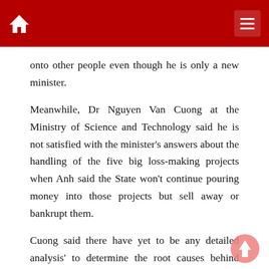onto other people even though he is only a new minister.
Meanwhile, Dr Nguyen Van Cuong at the Ministry of Science and Technology said he is not satisfied with the minister's answers about the handling of the five big loss-making projects when Anh said the State won't continue pouring money into those projects but sell away or bankrupt them.
Cuong said there have yet to be any detailed analysis' to determine the root causes behind losses found at these projects. He asked the industry ministry to clarify the reasons and State-owned enterprises' responsibility.
Sharing the same view, Nguyen Van Cuong, an economic